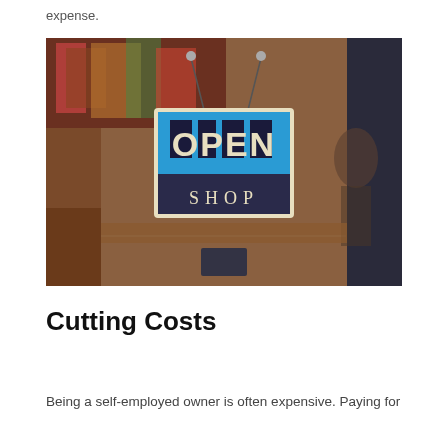expense.
[Figure (photo): A shop door window with a blue and dark 'OPEN SHOP' hanging sign, reflecting a person and retail merchandise in the background.]
Cutting Costs
Being a self-employed owner is often expensive. Paying for